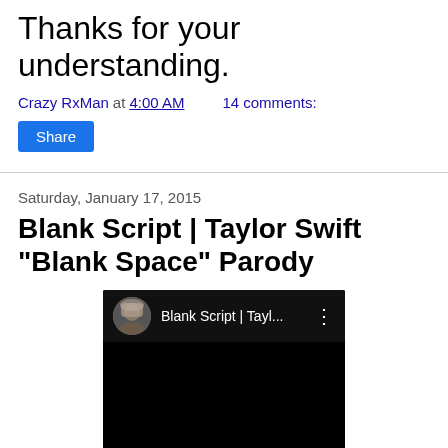Thanks for your understanding.
Crazy RxMan at 4:00 AM   14 comments:
Share
Saturday, January 17, 2015
Blank Script | Taylor Swift "Blank Space" Parody
[Figure (screenshot): YouTube video embed thumbnail showing 'Blank Script | Tayl...' with a person wearing a headscarf as the avatar icon, title bar on dark background, and black video body area.]